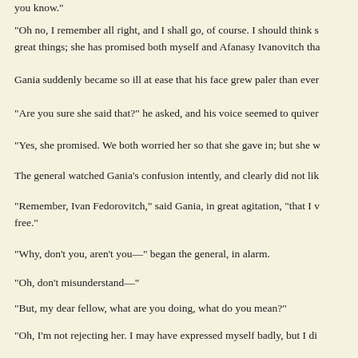you know."
"Oh no, I remember all right, and I shall go, of course. I should think s great things; she has promised both myself and Afanasy Ivanovitch tha
Gania suddenly became so ill at ease that his face grew paler than ever
"Are you sure she said that?" he asked, and his voice seemed to quiver
"Yes, she promised. We both worried her so that she gave in; but she w
The general watched Gania's confusion intently, and clearly did not lik
"Remember, Ivan Fedorovitch," said Gania, in great agitation, "that I v free."
"Why, don't you, aren't you—" began the general, in alarm.
"Oh, don't misunderstand—"
"But, my dear fellow, what are you doing, what do you mean?"
"Oh, I'm not rejecting her. I may have expressed myself badly, but I di
"Reject her! I should think not!" said the general with annoyance, and question of your rejecting her, it is whether you are prepared to receive
"At home? Oh, I can do as I like there, of course; only my father will r ever talk to him now, but I hold him in cheek, safe enough. I swear if i